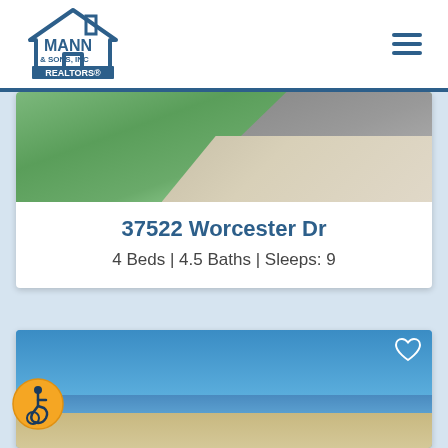Mann & Sons, Inc Realtors
[Figure (photo): Partial top view of a property listing card showing a lawn/grass area with concrete sidewalk and road]
37522 Worcester Dr
4 Beds | 4.5 Baths | Sleeps: 9
[Figure (photo): Beach scene property listing photo showing blue sky, ocean water, sandy beach, and boardwalk area with a favorite heart icon in top right]